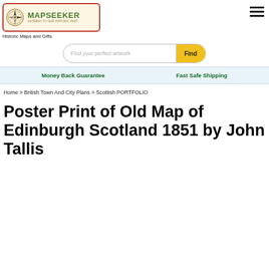[Figure (logo): Mapseeker logo with compass rose, red border, beige background, green text reading MAPSEEKER, tagline GATEWAY TO OUR HISTORIC PAST]
Historic Maps and Gifts
Find your perfect artwork
Find
Money Back Guarantee
Fast Safe Shipping
Home > British Town And City Plans > Scottish PORTFOLIO
Poster Print of Old Map of Edinburgh Scotland 1851 by John Tallis